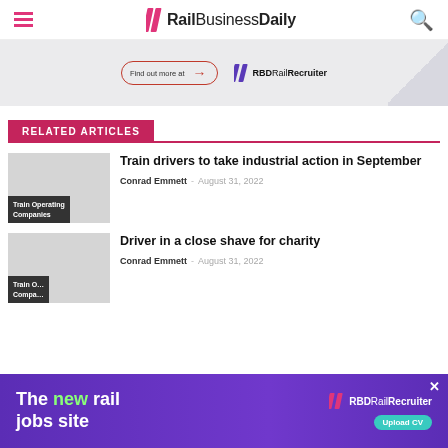RailBusinessDaily
[Figure (infographic): RBD Rail Recruiter advertisement banner with 'Find out more at' button and arrow]
RELATED ARTICLES
Train drivers to take industrial action in September
Conrad Emmett - August 31, 2022
[Figure (photo): Train Operating Companies article thumbnail image]
Driver in a close shave for charity
Conrad Emmett - August 31, 2022
[Figure (photo): Train Operating Companies article thumbnail image (second)]
[Figure (infographic): Bottom advertisement: 'The new rail jobs site' - RBD Rail Recruiter with Upload CV button]